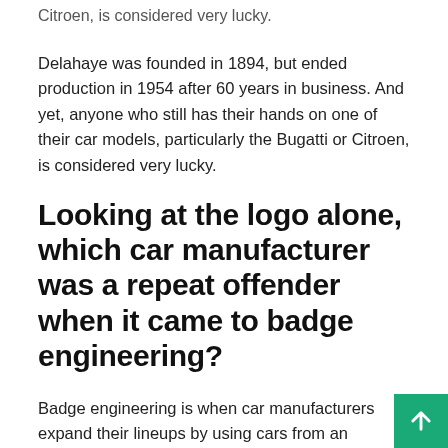Citroen, is considered very lucky.
Delahaye was founded in 1894, but ended production in 1954 after 60 years in business. And yet, anyone who still has their hands on one of their car models, particularly the Bugatti or Citroen, is considered very lucky.
Looking at the logo alone, which car manufacturer was a repeat offender when it came to badge engineering?
Badge engineering is when car manufacturers expand their lineups by using cars from an affiliated manufacturer and slapping their own badges on it. GM was known for doing this with the German brand Opel, which was owned by GM between 1929 and 2017.
Badge engineering is when car manufacturers expand their lineups by using cars from an affiliated manufacturer and